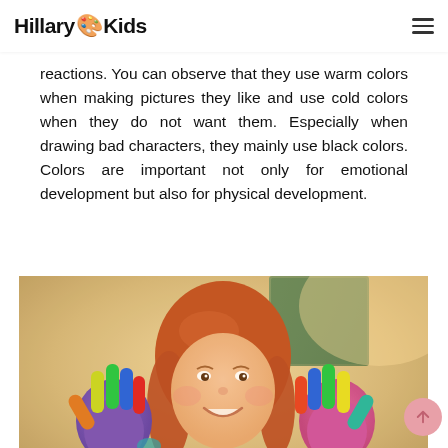Hillary Kids
reactions. You can observe that they use warm colors when making pictures they like and use cold colors when they do not want them. Especially when drawing bad characters, they mainly use black colors. Colors are important not only for emotional development but also for physical development.
[Figure (photo): A smiling red-haired girl holding up both hands with brightly colored paint on her palms and fingers — left hand painted purple with colorful finger tips, right hand painted pink/magenta with colorful finger tips. Classroom background with green chalkboard.]